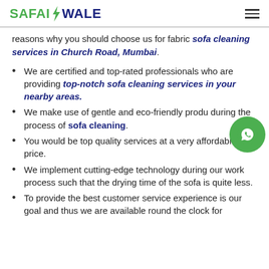SAFAIWALE
reasons why you should choose us for fabric sofa cleaning services in Church Road, Mumbai.
We are certified and top-rated professionals who are providing top-notch sofa cleaning services in your nearby areas.
We make use of gentle and eco-friendly products during the process of sofa cleaning.
You would be top quality services at a very affordable price.
We implement cutting-edge technology during our work process such that the drying time of the sofa is quite less.
To provide the best customer service experience is our goal and thus we are available round the clock for